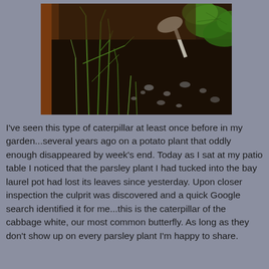[Figure (photo): Close-up photograph of a plant pot with bare stems (parsley stripped of leaves) in dark soil with gravel, and green leafy plants in the background. A white spoon or marker is visible. Warm brown terracotta pot edge visible on the left.]
I've seen this type of caterpillar at least once before in my garden...several years ago on a potato plant that oddly enough disappeared by week's end. Today as I sat at my patio table I noticed that the parsley plant I had tucked into the bay laurel pot had lost its leaves since yesterday. Upon closer inspection the culprit was discovered and a quick Google search identified it for me...this is the caterpillar of the cabbage white, our most common butterfly. As long as they don't show up on every parsley plant I'm happy to share.